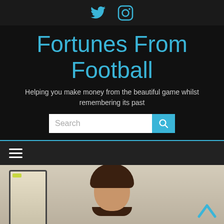[Figure (screenshot): Social media icons: Twitter bird icon and Instagram camera icon in teal/cyan color on dark background]
Fortunes From Football
Helping you make money from the beautiful game whilst remembering its past
[Figure (screenshot): Search bar with text input field reading 'Search' and a teal search button with magnifying glass icon]
[Figure (screenshot): Navigation bar with hamburger menu icon (three horizontal lines) on dark background]
[Figure (photo): Partial photo of a young child with curly hair smiling, with what appears to be sports equipment or a trophy visible on the left side. A teal upward chevron back-to-top button is visible in the bottom right.]